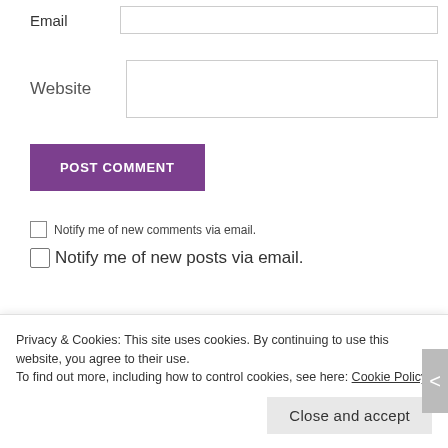Email
Website
POST COMMENT
Notify me of new comments via email.
Notify me of new posts via email.
Search
Privacy & Cookies: This site uses cookies. By continuing to use this website, you agree to their use.
To find out more, including how to control cookies, see here: Cookie Policy
Close and accept